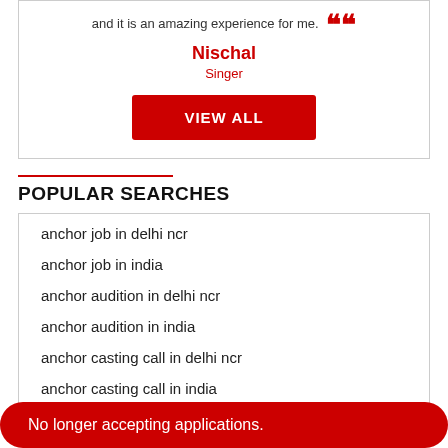and it is an amazing experience for me. ””
Nischal
Singer
VIEW ALL
POPULAR SEARCHES
anchor job in delhi ncr
anchor job in india
anchor audition in delhi ncr
anchor audition in india
anchor casting call in delhi ncr
anchor casting call in india
No longer accepting applications.